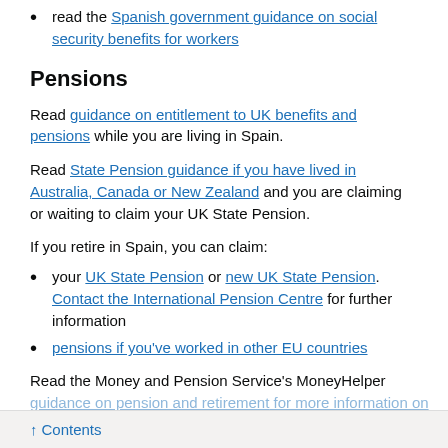read the Spanish government guidance on social security benefits for workers
Pensions
Read guidance on entitlement to UK benefits and pensions while you are living in Spain.
Read State Pension guidance if you have lived in Australia, Canada or New Zealand and you are claiming or waiting to claim your UK State Pension.
If you retire in Spain, you can claim:
your UK State Pension or new UK State Pension. Contact the International Pension Centre for further information
pensions if you've worked in other EU countries
Read the Money and Pension Service's MoneyHelper guidance on pension and retirement for more information on
↑ Contents